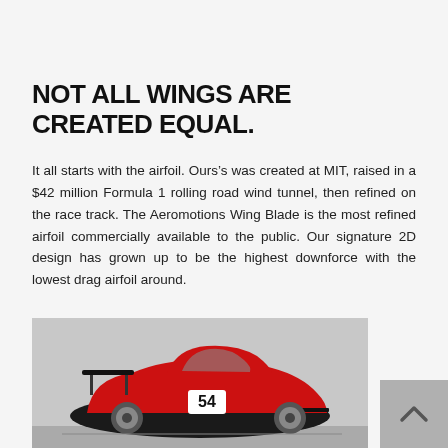NOT ALL WINGS ARE CREATED EQUAL.
It all starts with the airfoil. Ours’s was created at MIT, raised in a $42 million Formula 1 rolling road wind tunnel, then refined on the race track. The Aeromotions Wing Blade is the most refined airfoil commercially available to the public. Our signature 2D design has grown up to be the highest downforce with the lowest drag airfoil around.
[Figure (photo): Red Ferrari race car with number 54 and a large rear wing, shown in a studio or indoor setting. The car is a racing version with wide body kit and large rear spoiler.]